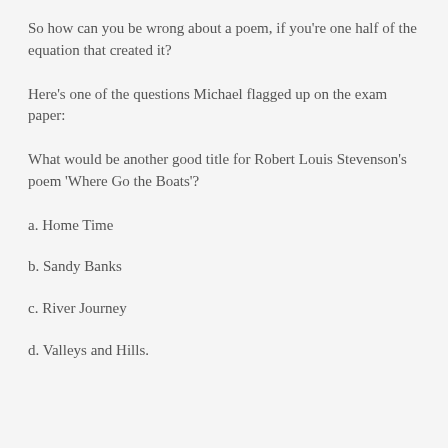So how can you be wrong about a poem, if you're one half of the equation that created it?
Here's one of the questions Michael flagged up on the exam paper:
What would be another good title for Robert Louis Stevenson's poem 'Where Go the Boats'?
a. Home Time
b. Sandy Banks
c. River Journey
d. Valleys and Hills.